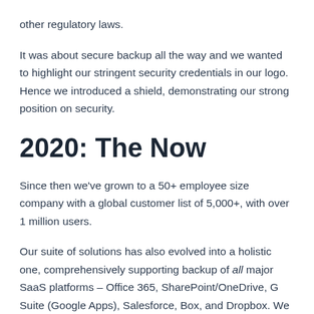other regulatory laws.
It was about secure backup all the way and we wanted to highlight our stringent security credentials in our logo. Hence we introduced a shield, demonstrating our strong position on security.
2020: The Now
Since then we’ve grown to a 50+ employee size company with a global customer list of 5,000+, with over 1 million users.
Our suite of solutions has also evolved into a holistic one, comprehensively supporting backup of all major SaaS platforms – Office 365, SharePoint/OneDrive, G Suite (Google Apps), Salesforce, Box, and Dropbox. We have